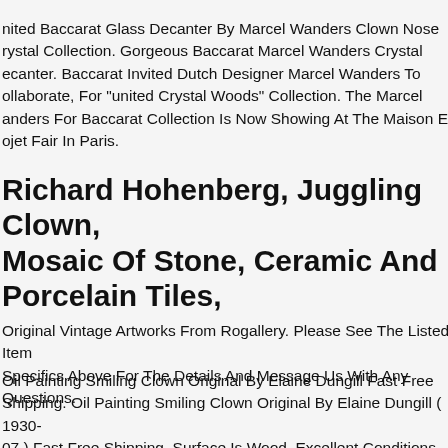nited Baccarat Glass Decanter By Marcel Wanders Clown Nose rystal Collection. Gorgeous Baccarat Marcel Wanders Crystal ecanter. Baccarat Invited Dutch Designer Marcel Wanders To ollaborate, For "united Crystal Woods" Collection. The Marcel anders For Baccarat Collection Is Now Showing At The Maison Et ojet Fair In Paris.
Richard Hohenberg, Juggling Clown, Mosaic Of Stone, Ceramic And Porcelain Tiles,
Original Vintage Artworks From Rogallery. Please See The Listed Item Specifics Above For The Details And Message Us With Any Questions.
Oil Painting Smiling Clown Original By Elaine Dungill Fast Free Shipping. Oil Painting Smiling Clown Original By Elaine Dungill ( 1930-07 ) Fast Free Shipping. Surface Is Wood, Excellent Conditions Except The Frame Which Is Scratched. 8 X 10 And 12 X 10 Inches With Frame. Shipped With Usps Priority Mail.